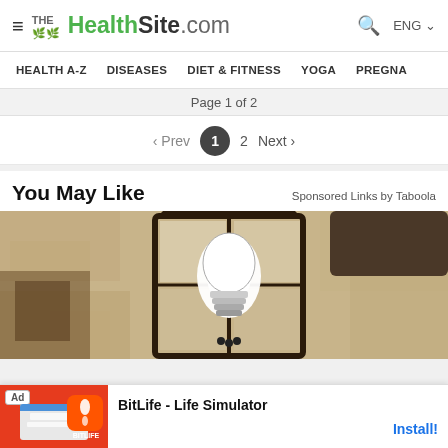THE HealthSite.com | Search | ENG
HEALTH A-Z   DISEASES   DIET & FITNESS   YOGA   PREGNA
Page 1 of 2
< Prev  1  2  Next >
You May Like
Sponsored Links by Taboola
[Figure (photo): Close-up photo of a black outdoor lantern wall lamp with a white LED bulb installed, mounted on a textured beige stucco wall]
Ad  BitLife - Life Simulator   Install!